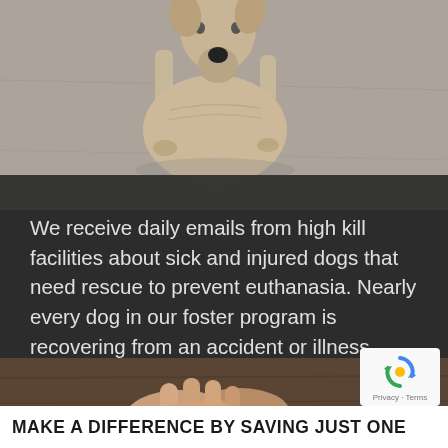[Figure (photo): Close-up photo of a thin stray dog standing on a concrete surface, looking up toward the camera]
We receive daily emails from high kill facilities about sick and injured dogs that need rescue to prevent euthanasia. Nearly every dog in our foster program is recovering from an accident or illness.
[Figure (photo): Photo of human hands, possibly petting or holding a dog, on a wooden surface]
MAKE A DIFFERENCE BY SAVING JUST ONE